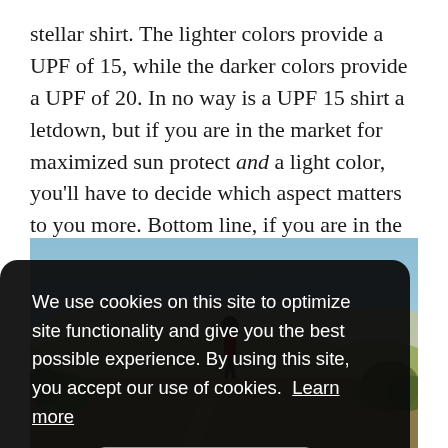stellar shirt. The lighter colors provide a UPF of 15, while the darker colors provide a UPF of 20. In no way is a UPF 15 shirt a letdown, but if you are in the market for maximized sun protect and a light color, you'll have to decide which aspect matters to you more. Bottom line, if you are in the market for a versatile, breathable, moisture-wicking, and well-featured running shirt, this one is a great choice.
[Figure (photo): Outdoor trail scene with hills, blue sky, and vegetation. A person wearing dark clothing and a cap is visible on the trail.]
We use cookies on this site to optimize site functionality and give you the best possible experience. By using this site, you accept our use of cookies. Learn more
Got it!